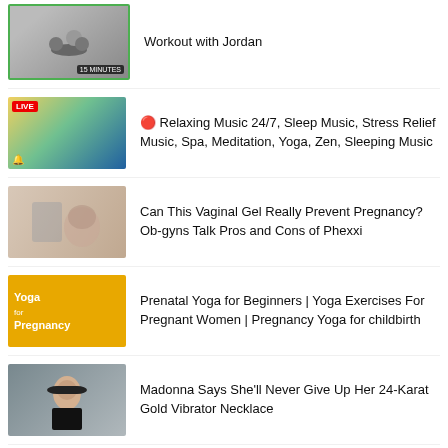Workout with Jordan
🔴 Relaxing Music 24/7, Sleep Music, Stress Relief Music, Spa, Meditation, Yoga, Zen, Sleeping Music
Can This Vaginal Gel Really Prevent Pregnancy? Ob-gyns Talk Pros and Cons of Phexxi
Prenatal Yoga for Beginners | Yoga Exercises For Pregnant Women | Pregnancy Yoga for childbirth
Madonna Says She'll Never Give Up Her 24-Karat Gold Vibrator Necklace
10-minute Indoor Walking Workout for Seniors,